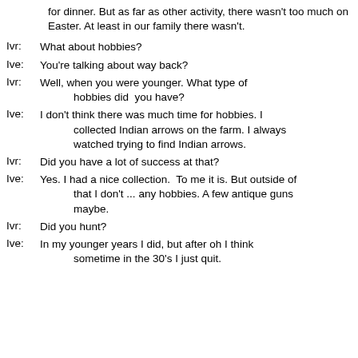for dinner. But as far as other activity, there wasn't too much on Easter. At least in our family there wasn't.
Ivr:    What about hobbies?
Ive:    You're talking about way back?
Ivr:    Well, when you were younger. What type of hobbies did  you have?
Ive:    I don't think there was much time for hobbies. I collected Indian arrows on the farm. I always watched trying to find Indian arrows.
Ivr:    Did you have a lot of success at that?
Ive:    Yes. I had a nice collection.  To me it is. But outside of that I don't ... any hobbies. A few antique guns maybe.
Ivr:    Did you hunt?
Ive:    In my younger years I did, but after oh I think sometime in the 30's I just quit.